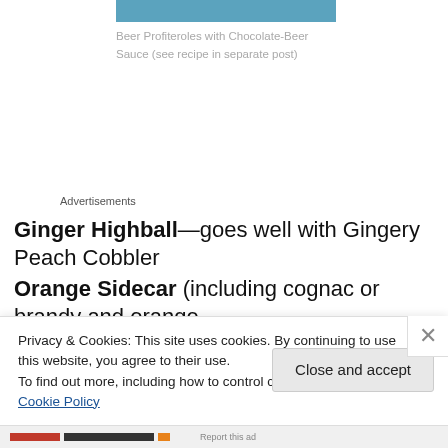[Figure (photo): Partial photo strip at top showing blue/teal background, likely a food or drink image]
Beer Profiteroles with Chocolate-Beer Sauce (see recipe in separate post)
Advertisements
Ginger Highball—goes well with Gingery Peach Cobbler
Orange Sidecar (including cognac or brandy and orange liqueur)—goes well with the saffron-hued...
Privacy & Cookies: This site uses cookies. By continuing to use this website, you agree to their use.
To find out more, including how to control cookies, see here: Cookie Policy